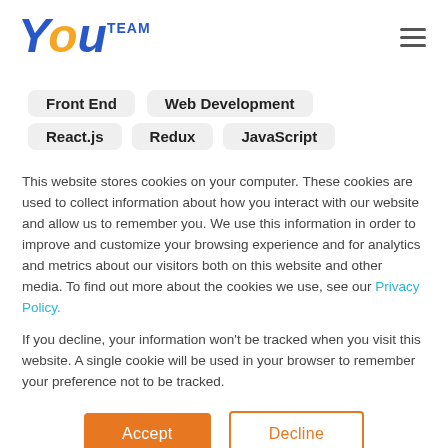YouTeam logo and navigation
Front End  Web Development  React.js  Redux  JavaScript
This website stores cookies on your computer. These cookies are used to collect information about how you interact with our website and allow us to remember you. We use this information in order to improve and customize your browsing experience and for analytics and metrics about our visitors both on this website and other media. To find out more about the cookies we use, see our Privacy Policy.
If you decline, your information won't be tracked when you visit this website. A single cookie will be used in your browser to remember your preference not to be tracked.
Accept  Decline